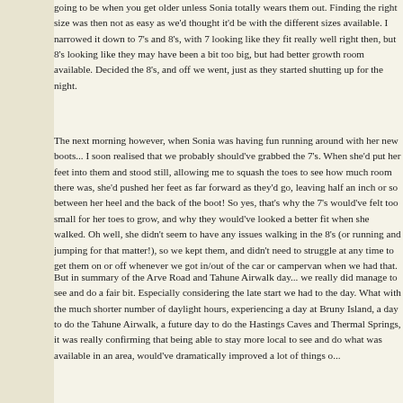going to be when you get older unless Sonia totally wears them out. Finding the right size was then not as easy as we'd thought it'd be with the different sizes available. I narrowed it down to 7's and 8's, with 7 looking like they fit really well right then, but 8's looking like they may have been a bit too big, but had better growth room available. Decided the 8's, and off we went, just as they started shutting up for the night.
The next morning however, when Sonia was having fun running around with her new boots... I soon realised that we probably should've grabbed the 7's. When she'd put her feet into them and stood still, allowing me to squash the toes to see how much room there was, she'd pushed her feet as far forward as they'd go, leaving half an inch or so between her heel and the back of the boot! So yes, that's why the 7's would've felt too small for her toes to grow, and why they would've looked a better fit when she walked. Oh well, she didn't seem to have any issues walking in the 8's (or running and jumping for that matter!), so we kept them, and didn't need to struggle at any time to get them on or off whenever we got in/out of the car or campervan when we had that.
But in summary of the Arve Road and Tahune Airwalk day... we really did manage to see and do a fair bit. Especially considering the late start we had to the day. What with the much shorter number of daylight hours, experiencing a day at Bruny Island, a day to do the Tahune Airwalk, a future day to do the Hastings Caves and Thermal Springs, it was really confirming that being able to stay more local to see and do what was available in an area, would've dramatically improved a lot of things o...